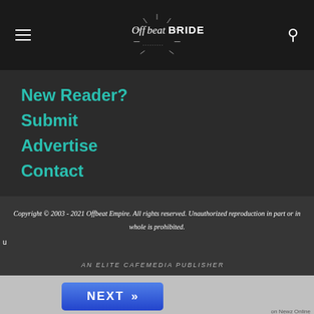Offbeat Bride
New Reader?
Submit
Advertise
Contact
Copyright © 2003 - 2021 Offbeat Empire. All rights reserved. Unauthorized reproduction in part or in whole is prohibited.
AN ELITE CAFEMEDIA PUBLISHER
NEXT >> on Newz Online